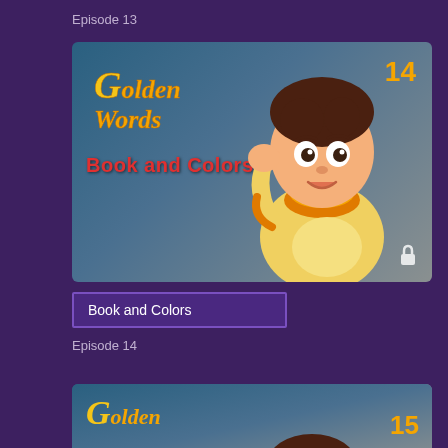Episode 13
[Figure (illustration): Thumbnail for episode 14 of Golden Words cartoon series showing a young animated boy in a yellow sweater with text 'Golden Words' and 'Book and Colors', episode number 14 in orange, and a lock icon]
Book and Colors
Episode 14
[Figure (illustration): Partially visible thumbnail for episode 15 of Golden Words cartoon series showing the Golden Words logo and episode number 15 in orange]